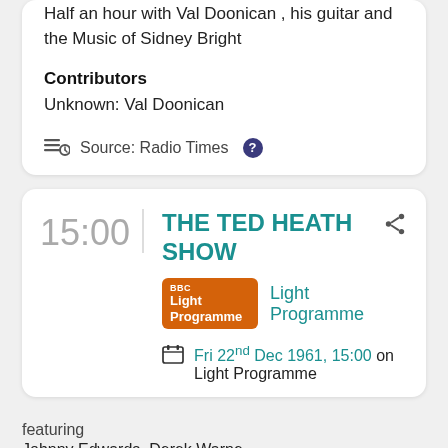Half an hour with Val Doonican , his guitar and the Music of Sidney Bright
Contributors
Unknown: Val Doonican
Source: Radio Times
15:00
THE TED HEATH SHOW
[Figure (logo): BBC Light Programme orange badge logo]
Light Programme
Fri 22nd Dec 1961, 15:00 on Light Programme
featuring
Johnny Edwards, Derek Warne